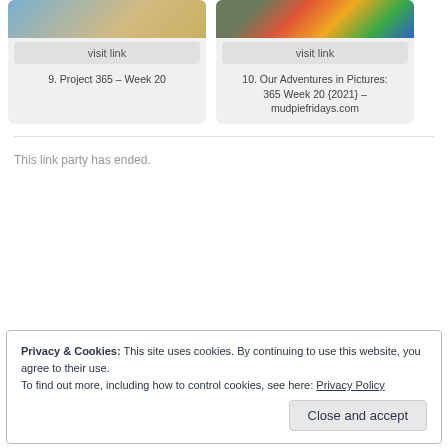[Figure (photo): Card with landscape/desert photo thumbnail, visit link button, and label '9. Project 365 – Week 20']
[Figure (photo): Card with colorful rainbow clothing photo thumbnail, visit link button, and label '10. Our Adventures in Pictures: 365 Week 20 {2021} – mudpiefridays.com']
This link party has ended.
Privacy & Cookies: This site uses cookies. By continuing to use this website, you agree to their use.
To find out more, including how to control cookies, see here: Privacy Policy
Close and accept